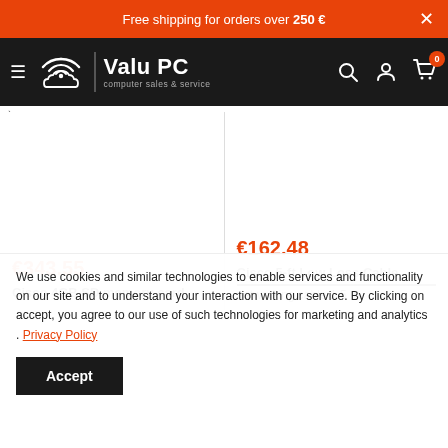Free shipping for orders over 250 €
[Figure (logo): ValuPC logo with cloud/wifi icon and text 'Valu PC computer sales & service' on dark navbar with hamburger menu, search, account, and cart icons]
€343.55
Cisco 4GB SD memory card
€162.48
Cisco 5-ft Low Loss Cable networking cable 1.5 m
We use cookies and similar technologies to enable services and functionality on our site and to understand your interaction with our service. By clicking on accept, you agree to our use of such technologies for marketing and analytics . Privacy Policy
Accept